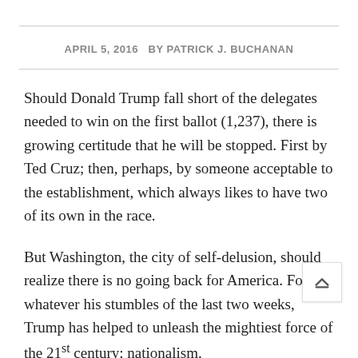APRIL 5, 2016   BY PATRICK J. BUCHANAN
Should Donald Trump fall short of the delegates needed to win on the first ballot (1,237), there is growing certitude that he will be stopped. First by Ted Cruz; then, perhaps, by someone acceptable to the establishment, which always likes to have two of its own in the race.
But Washington, the city of self-delusion, should realize there is no going back for America. For, whatever his stumbles of the last two weeks, Trump has helped to unleash the mightiest force of the 21st century: nationalism.
Transnationalism and globalism are moribund.